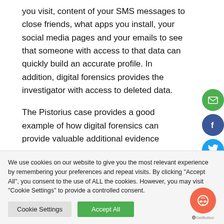you visit, content of your SMS messages to close friends, what apps you install, your social media pages and your emails to see that someone with access to that data can quickly build an accurate profile. In addition, digital forensics provides the investigator with access to deleted data.
The Pistorius case provides a good example of how digital forensics can provide valuable additional evidence
We use cookies on our website to give you the most relevant experience by remembering your preferences and repeat visits. By clicking "Accept All", you consent to the use of ALL the cookies. However, you may visit "Cookie Settings" to provide a controlled consent.